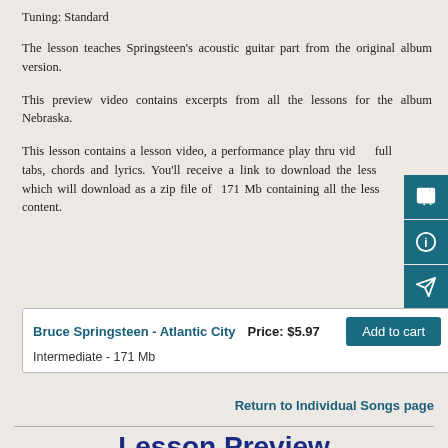Tuning: Standard
The lesson teaches Springsteen's acoustic guitar part from the original album version.
This preview video contains excerpts from all the lessons for the album Nebraska.
This lesson contains a lesson video, a performance play thru vid... full tabs, chords and lyrics. You'll receive a link to download the less... which will download as a zip file of 171 Mb containing all the less... content.
| Bruce Springsteen - Atlantic City | Price: $5.97 | Add to cart |
| Intermediate - 171 Mb |  |  |
Return to Individual Songs page
Lesson Preview